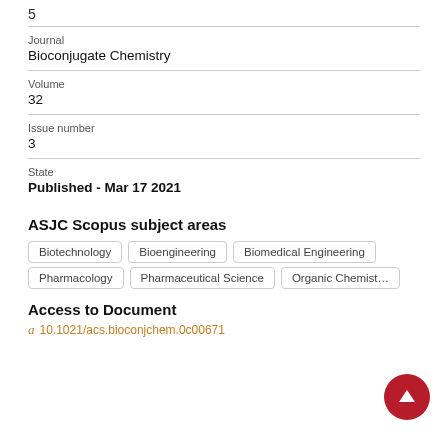5
Journal
Bioconjugate Chemistry
Volume
32
Issue number
3
State
Published - Mar 17 2021
ASJC Scopus subject areas
Biotechnology
Bioengineering
Biomedical Engineering
Pharmacology
Pharmaceutical Science
Organic Chemistry
Access to Document
10.1021/acs.bioconjchem.0c00671